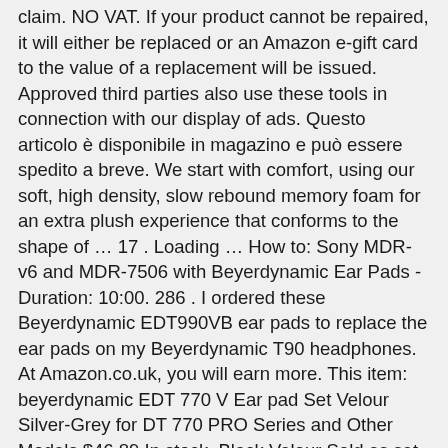claim. NO VAT. If your product cannot be repaired, it will either be replaced or an Amazon e-gift card to the value of a replacement will be issued. Approved third parties also use these tools in connection with our display of ads. Questo articolo è disponibile in magazino e può essere spedito a breve. We start with comfort, using our soft, high density, slow rebound memory foam for an extra plush experience that conforms to the shape of … 17 . Loading … How to: Sony MDR-v6 and MDR-7506 with Beyerdynamic Ear Pads - Duration: 10:00. 286 . I ordered these Beyerdynamic EDT990VB ear pads to replace the ear pads on my Beyerdynamic T90 headphones. At Amazon.co.uk, you will earn more. This item: beyerdynamic EDT 770 V Ear pad Set Velour Silver-Grey for DT 770 PRO Series and Other Models $46.89 In stock. Black Velour Sold as set of 2 each Original beyerdynamic replacement ear pads NOTE: for use with DT 801,831 and 901: plastic rings in the"old" earpads have to be used again with the new one £40. DT-990/880 Ear Pads. 2 . Matching accessories & spare parts: For headphones & headsets you will find here the